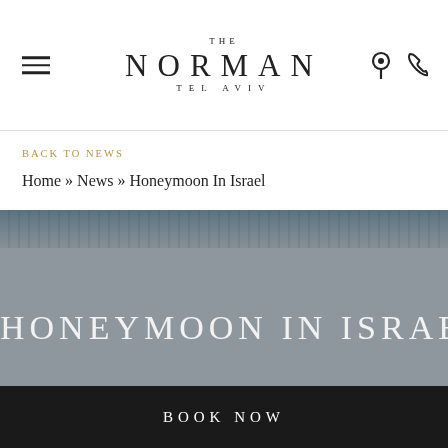THE NORMAN TEL AVIV
BACK TO NEWS
Home » News » Honeymoon In Israel
[Figure (photo): Hero image showing aerial/cityscape view of Tel Aviv with overlay text 'HONEYMOON IN ISRAEL' on a grey background]
HONEYMOON IN ISRAEL
BOOK NOW